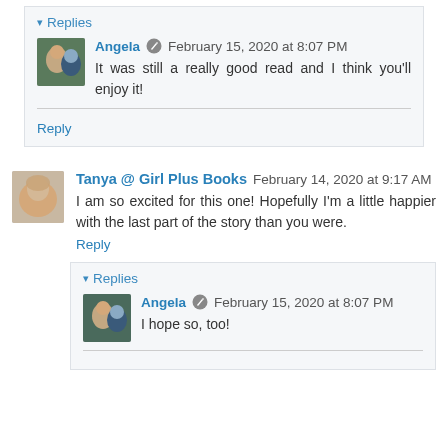Replies
Angela  February 15, 2020 at 8:07 PM
It was still a really good read and I think you'll enjoy it!
Reply
Tanya @ Girl Plus Books  February 14, 2020 at 9:17 AM
I am so excited for this one! Hopefully I'm a little happier with the last part of the story than you were.
Reply
Replies
Angela  February 15, 2020 at 8:07 PM
I hope so, too!